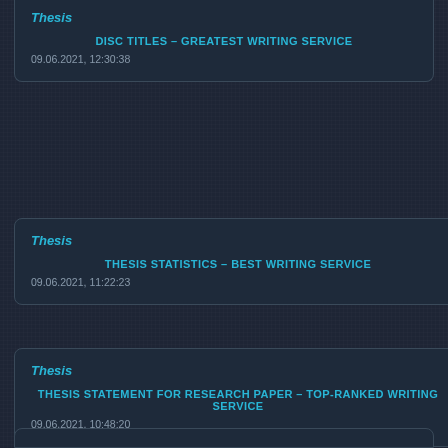Thesis
DISC TITLES – GREATEST WRITING SERVICE
09.06.2021, 12:30:38
Thesis
THESIS STATISTICS – BEST WRITING SERVICE
09.06.2021, 11:22:23
Thesis
THESIS STATEMENT FOR RESEARCH PAPER – TOP-RANKED WRITING SERVICE
09.06.2021, 10:48:20